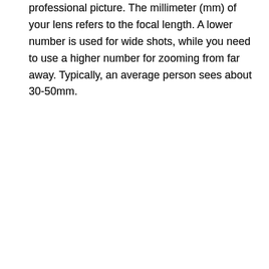professional picture. The millimeter (mm) of your lens refers to the focal length. A lower number is used for wide shots, while you need to use a higher number for zooming from far away. Typically, an average person sees about 30-50mm.
2. What Mirror Does My Camera Have?
Does your camera have a single mirror or many? Some inexpensive DSLRs have several mirrors, while high-quality models have a prism instead. Understanding the mirrors in your camera is important in finding out the quality of each shot.
3. Does It Have a Good Battery Life?
Thankfully, DSLRs generally have an excellent battery life. The optical viewfinder requires far less power than most other types of cameras. This allows you to take far more